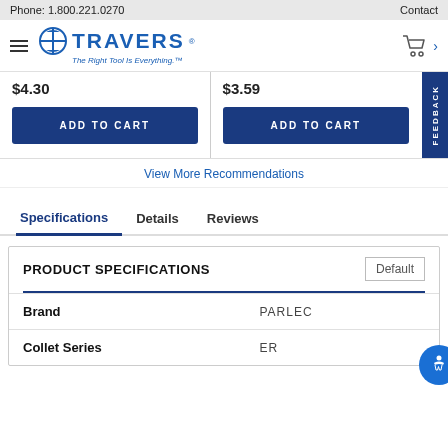Phone: 1.800.221.0270    Contact
[Figure (logo): Travers Tool Co logo with hamburger menu and cart icon]
$4.30
$3.59
ADD TO CART
ADD TO CART
View More Recommendations
Specifications | Details | Reviews
| PRODUCT SPECIFICATIONS | Default |
| --- | --- |
| Brand | PARLEC |
| Collet Series | ER |